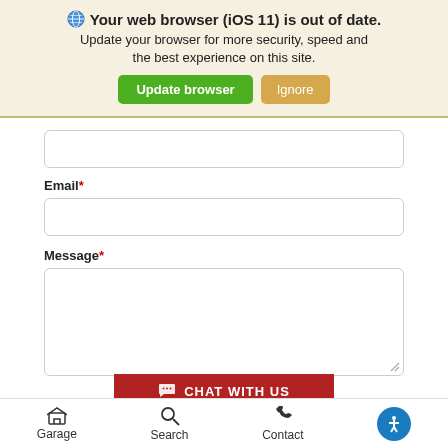🌐 Your web browser (iOS 11) is out of date. Update your browser for more security, speed and the best experience on this site. [Update browser] [Ignore]
Email *
[Figure (screenshot): Empty email text input field with rounded border]
Message *
[Figure (screenshot): Empty message textarea with rounded border and resize handle]
[Figure (screenshot): Red CHAT WITH US button with speech bubble icon]
Garage   Search   Contact   [accessibility icon]